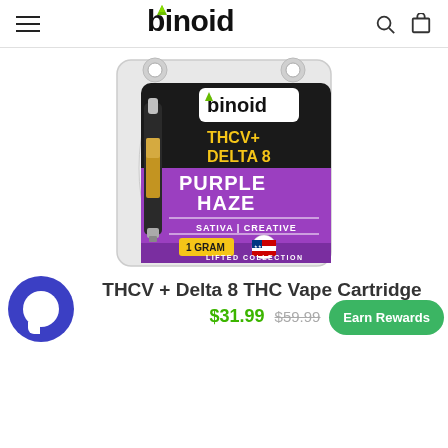Binoid
[Figure (photo): Product photo of Binoid THCV + Delta 8 Purple Haze vape cartridge in blister packaging. Package shows Binoid logo, THCV+ Delta 8 in yellow text, Purple Haze in large purple text, Sativa | Creative label, 1 Gram badge, Made in USA shield, and Lifted Collection footer.]
THCV + Delta 8 THC Vape Cartridge
$31.99  $59.99